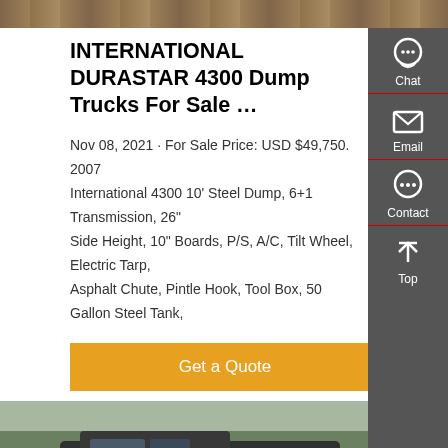[Figure (photo): Top banner image showing trucks or vehicles, dark brownish tones]
INTERNATIONAL DURASTAR 4300 Dump Trucks For Sale …
Nov 08, 2021 · For Sale Price: USD $49,750. 2007 International 4300 10' Steel Dump, 6+1 Transmission, 26" Side Height, 10" Boards, P/S, A/C, Tilt Wheel, Electric Tarp, Asphalt Chute, Pintle Hook, Tool Box, 50 Gallon Steel Tank,
[Figure (other): Orange 'Get a Quote' button]
[Figure (photo): Photo of large dump trucks (Sitrak brand) parked outdoors with trees in background]
[Figure (infographic): Right-side floating panel with Chat, Email, Contact, Top buttons on dark grey background]